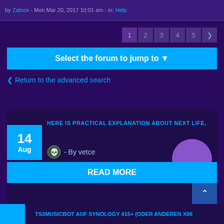by Zatnox - Mon Mar 20, 2017 10:01 am - in: Help
1 2 3 4 5 >
Select the forum to jump to ▼
< Return to the advanced search
HERE IS PRACTICAL EXPLANATION ABOUT NEXT LIFE,
- By vetce
Practical Explanation ( For Example ) :- `1st
READ MORE
TS3MUSICBOT AUF SYNOLOGY 415+ (ODER ANDEREN X86